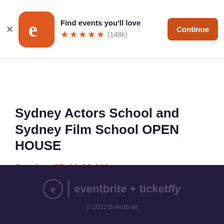[Figure (screenshot): Eventbrite app banner with orange logo icon, 'Find events you'll love' text, 5 orange stars and (148k) rating, and an orange 'Continue' button]
[Figure (photo): Dark photo strip showing colorful circular shapes on black background — gold, gray, red, and white circles]
Sydney Actors School and Sydney Film School OPEN HOUSE
Sat, Aug 27, 11:00 AM
Waterloo Studios • Sydney, NSW
Free
eventbrite + ticketfly
© 2022 Eventbrite